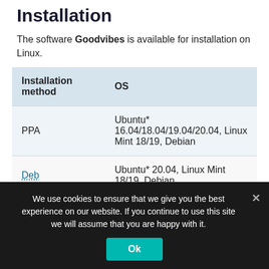Installation
The software Goodvibes is available for installation on Linux.
| Installation method | OS |
| --- | --- |
| PPA | Ubuntu* 16.04/18.04/19.04/20.04, Linux Mint 18/19, Debian |
| Deb | Ubuntu* 20.04, Linux Mint 18/19, Debian |
|  | openSUSE, Rosa Linux, Mageia, |
We use cookies to ensure that we give you the best experience on our website. If you continue to use this site we will assume that you are happy with it.